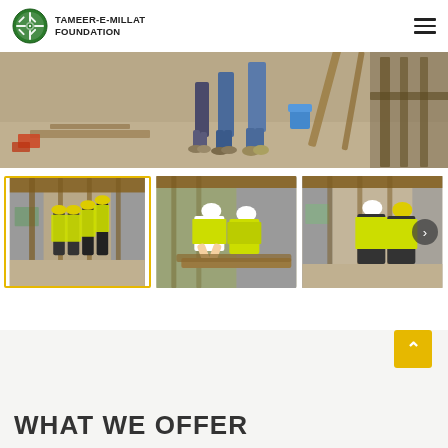[Figure (logo): Tameer-e-Millat Foundation logo with green circular emblem and bold text]
[Figure (photo): Construction site banner image showing workers in high-visibility vests and hard hats standing on a building site]
[Figure (photo): Thumbnail row with three construction site photos: workers inspecting building frame, workers measuring wood, workers at construction site with next arrow]
WHAT WE OFFER